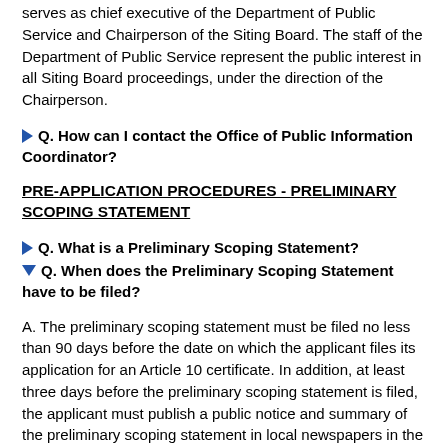serves as chief executive of the Department of Public Service and Chairperson of the Siting Board. The staff of the Department of Public Service represent the public interest in all Siting Board proceedings, under the direction of the Chairperson.
Q. How can I contact the Office of Public Information Coordinator?
PRE-APPLICATION PROCEDURES - PRELIMINARY SCOPING STATEMENT
Q. What is a Preliminary Scoping Statement?
Q. When does the Preliminary Scoping Statement have to be filed?
A. The preliminary scoping statement must be filed no less than 90 days before the date on which the applicant files its application for an Article 10 certificate. In addition, at least three days before the preliminary scoping statement is filed, the applicant must publish a public notice and summary of the preliminary scoping statement in local newspapers in the affected area and serve a copy of the notice and summary upon public officials and all persons who requested to receive such notices.
Q. What kind of information must be included in a Preliminary Scoping Statement?